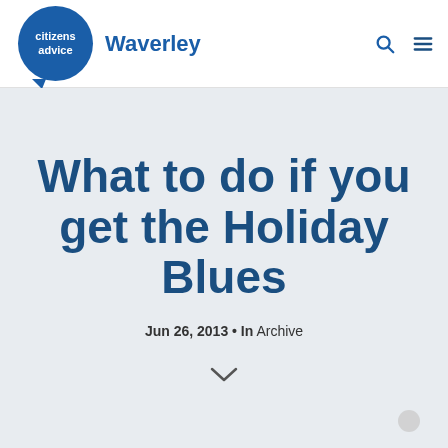citizens advice Waverley
What to do if you get the Holiday Blues
Jun 26, 2013 • In Archive